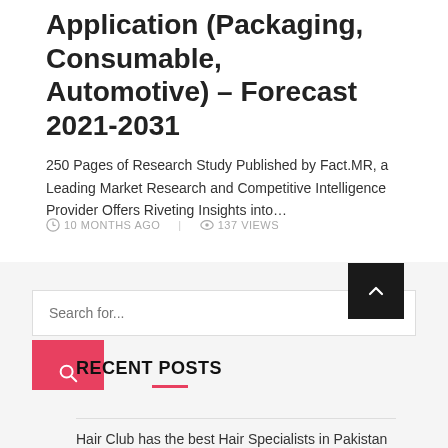Application (Packaging, Consumable, Automotive) – Forecast 2021-2031
250 Pages of Research Study Published by Fact.MR, a Leading Market Research and Competitive Intelligence Provider Offers Riveting Insights into…
10 MONTHS AGO   137 VIEWS
Search for...
RECENT POSTS
Hair Club has the best Hair Specialists in Pakistan